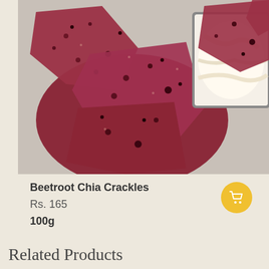[Figure (photo): Photo of dark red/purple beetroot chia crackles (crackers) scattered on a surface with a small metal dish containing white dip/cream on the right side.]
Beetroot Chia Crackles
Rs. 165
100g
[Figure (illustration): Yellow circular cart/shopping button with a white shopping cart icon.]
Related Products